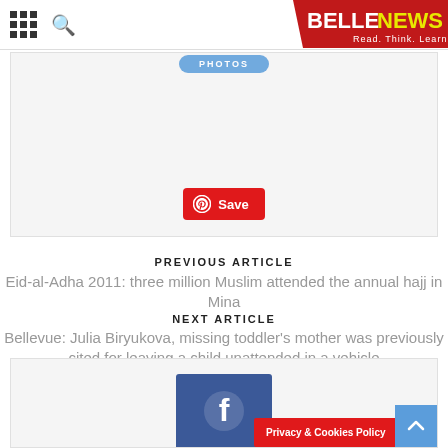BELLENEWS — Read. Think. Learn.
[Figure (screenshot): Article image area with Pinterest Save button overlay]
PREVIOUS ARTICLE
Eid-al-Adha 2011: three million Muslim attended the annual hajj in Mina
NEXT ARTICLE
Bellevue: Julia Biryukova, missing toddler's mother was previously cited for leaving a child unattended in a vehicle
[Figure (screenshot): Bottom section with Facebook logo and Privacy & Cookies Policy banner, scroll-to-top button]